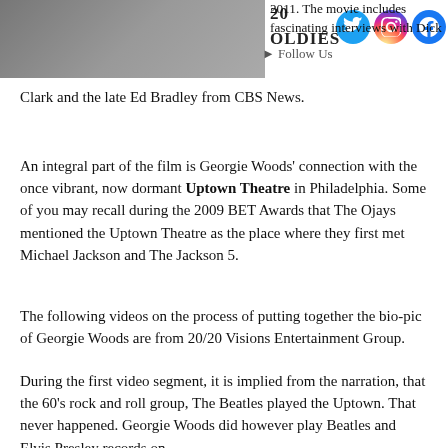[Figure (photo): Photo of people, partially visible at top left, with '20 OLDIES' text overlay and social media icons (Twitter, Instagram, Facebook) at top right]
2011. The movie includes fascinating interviews with Dick Clark and the late Ed Bradley from CBS News.
An integral part of the film is Georgie Woods' connection with the once vibrant, now dormant Uptown Theatre in Philadelphia. Some of you may recall during the 2009 BET Awards that The Ojays mentioned the Uptown Theatre as the place where they first met Michael Jackson and The Jackson 5.
The following videos on the process of putting together the bio-pic of Georgie Woods are from 20/20 Visions Entertainment Group.
During the first video segment, it is implied from the narration, that the 60's rock and roll group, The Beatles played the Uptown. That never happened. Georgie Woods did however play Beatles and Elvis Presley records on